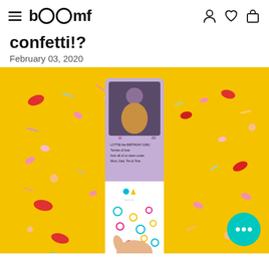boomf
confetti!?
February 03, 2020
[Figure (photo): A hand holding a greeting card with a girl's birthday photo on it, surrounded by colourful confetti falling on a bright yellow background. The card reads: LOTTIE the BIRTHDAY GIRL! Tonnes of love from all of us down under. Mum, Dad, Tim & Tina]